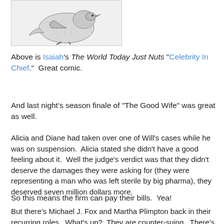[Figure (illustration): Black and white illustration of a bird or animal figure, partial view at top of page]
Above is Isaiah's The World Today Just Nuts "Celebrity In Chief."  Great comic.
And last night's season finale of "The Good Wife" was great as well.
Alicia and Diane had taken over one of Will's cases while he was on suspension.  Alicia stated she didn't have a good feeling about it.  Well the judge's verdict was that they didn't deserve the damages they were asking for (they were representing a man who was left sterile by big pharma), they deserved seven million dollars more.
So this means the firm can pay their bills.  Yea!
But there's Michael J. Fox and Martha Plimpton back in their recurring roles.  What's up?  They are counter-suing.  There's no merit, they are told.  They don't care.  Their clients are big pharma -- four of them -- who want the law